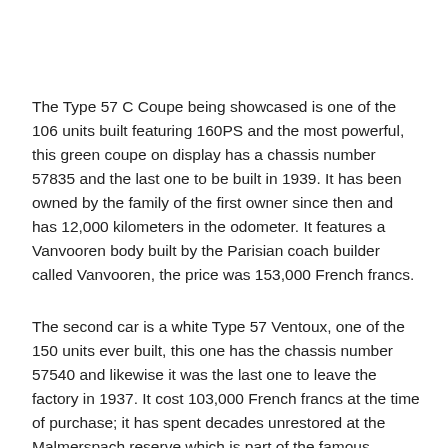The Type 57 C Coupe being showcased is one of the 106 units built featuring 160PS and the most powerful, this green coupe on display has a chassis number 57835 and the last one to be built in 1939. It has been owned by the family of the first owner since then and has 12,000 kilometers in the odometer. It features a Vanvooren body built by the Parisian coach builder called Vanvooren, the price was 153,000 French francs.
The second car is a white Type 57 Ventoux, one of the 150 units ever built, this one has the chassis number 57540 and likewise it was the last one to leave the factory in 1937. It cost 103,000 French francs at the time of purchase; it has spent decades unrestored at the Malmerspach reserve which is part of the famous Schlumpf collection.